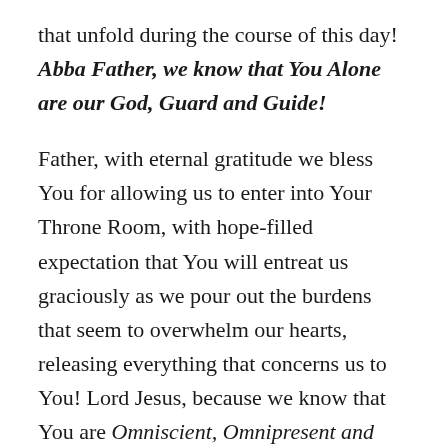that unfold during the course of this day! Abba Father, we know that You Alone are our God, Guard and Guide!

Father, with eternal gratitude we bless You for allowing us to enter into Your Throne Room, with hope-filled expectation that You will entreat us graciously as we pour out the burdens that seem to overwhelm our hearts, releasing everything that concerns us to You! Lord Jesus, because we know that You are Omniscient, Omnipresent and Omnipotent, You see and You already know everything about everyone of us, yet You have welcomed us to come boldly before You, to find Grace and Mercy to comfort, strengthen and encourage us to hold on to every